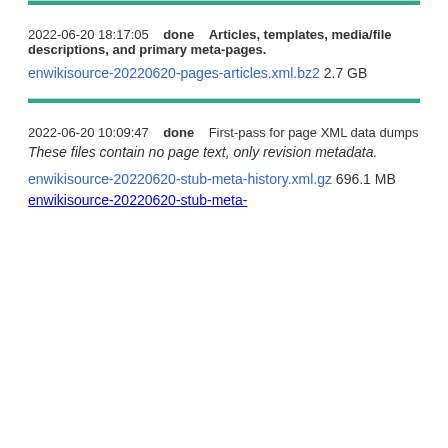2022-06-20 18:17:05   done   Articles, templates, media/file descriptions, and primary meta-pages.
enwikisource-20220620-pages-articles.xml.bz2 2.7 GB
2022-06-20 10:09:47   done   First-pass for page XML data dumps
These files contain no page text, only revision metadata.
enwikisource-20220620-stub-meta-history.xml.gz 696.1 MB
enwikisource-20220620-stub-meta-